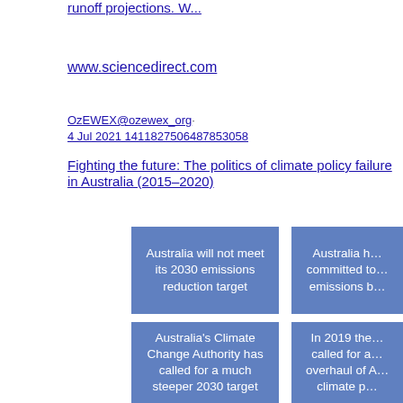runoff projections. W...
www.sciencedirect.com
OzEWEX@ozewex_org · 4 Jul 2021 1411827506487853058
Fighting the future: The politics of climate policy failure in Australia (2015–2020)
[Figure (infographic): Blue card with white text: Australia will not meet its 2030 emissions reduction target]
[Figure (infographic): Blue card with white text (partially cropped): Australia h... committed to... emissions b...]
[Figure (infographic): Blue card with white text: Australia's Climate Change Authority has called for a much steeper 2030 target]
[Figure (infographic): Blue card with white text (partially cropped): In 2019 the... called for a... overhaul of A... climate p...]